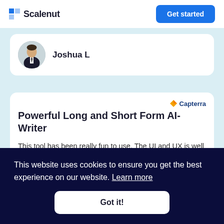Scalenut | Get started
Joshua L
Powerful Long and Short Form AI-Writer
This tool has been really fun to use. The UI and UX is well designed and nothing inside Scalenut f…
This website uses cookies to ensure you get the best experience on our website. Learn more
Got it!